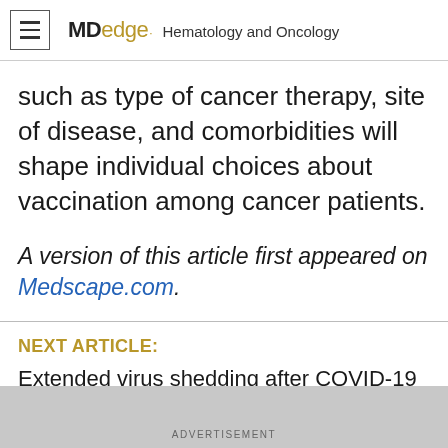MDedge· Hematology and Oncology
such as type of cancer therapy, site of disease, and comorbidities will shape individual choices about vaccination among cancer patients.
A version of this article first appeared on Medscape.com.
NEXT ARTICLE:
Extended virus shedding after COVID-19 in some
ADVERTISEMENT